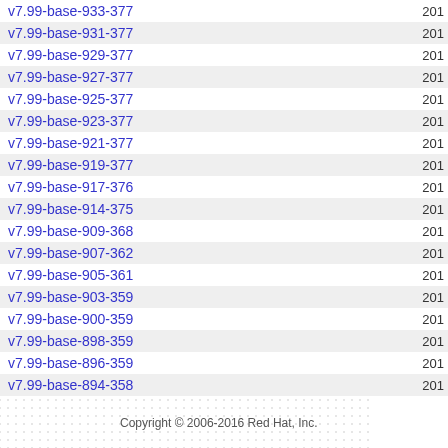| Version | Date |
| --- | --- |
| v7.99-base-933-377 | 201 |
| v7.99-base-931-377 | 201 |
| v7.99-base-929-377 | 201 |
| v7.99-base-927-377 | 201 |
| v7.99-base-925-377 | 201 |
| v7.99-base-923-377 | 201 |
| v7.99-base-921-377 | 201 |
| v7.99-base-919-377 | 201 |
| v7.99-base-917-376 | 201 |
| v7.99-base-914-375 | 201 |
| v7.99-base-909-368 | 201 |
| v7.99-base-907-362 | 201 |
| v7.99-base-905-361 | 201 |
| v7.99-base-903-359 | 201 |
| v7.99-base-900-359 | 201 |
| v7.99-base-898-359 | 201 |
| v7.99-base-896-359 | 201 |
| v7.99-base-894-358 | 201 |
Copyright © 2006-2016 Red Hat, Inc.